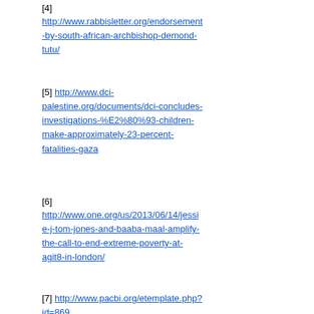[4] http://www.rabbisletter.org/endorsement-by-south-african-archbishop-demond-tutu/
[5] http://www.dci-palestine.org/documents/dci-concludes-investigations-%E2%80%93-children-make-approximately-23-percent-fatalities-gaza
[6] http://www.one.org/us/2013/06/14/jessie-j-tom-jones-and-baaba-maal-amplify-the-call-to-end-extreme-poverty-at-agit8-in-london/
[7] http://www.pacbi.org/etemplate.php?id=869